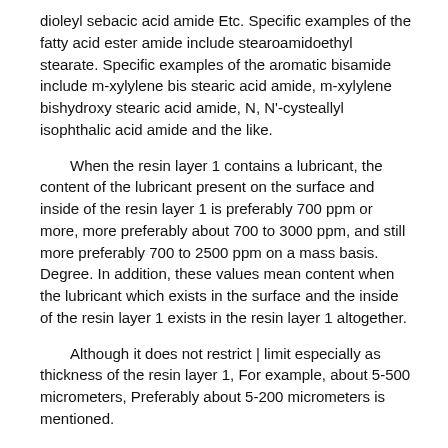dioleyl sebacic acid amide Etc. Specific examples of the fatty acid ester amide include stearoamidoethyl stearate. Specific examples of the aromatic bisamide include m-xylylene bis stearic acid amide, m-xylylene bishydroxy stearic acid amide, N, N'-cysteallyl isophthalic acid amide and the like.
When the resin layer 1 contains a lubricant, the content of the lubricant present on the surface and inside of the resin layer 1 is preferably 700 ppm or more, more preferably about 700 to 3000 ppm, and still more preferably 700 to 2500 ppm on a mass basis. Degree. In addition, these values mean content when the lubricant which exists in the surface and the inside of the resin layer 1 exists in the resin layer 1 altogether.
Although it does not restrict | limit especially as thickness of the resin layer 1, For example, about 5-500 micrometers, Preferably about 5-200 micrometers is mentioned.
[Support 2]
As a layer which comprises the support body 2, the base material layer 21, the metal layer 22, etc. are mentioned, for example. The support 2 may be composed of only one